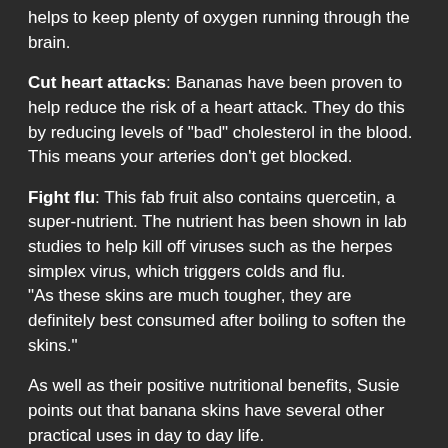helps to keep plenty of oxygen running through the brain.
Cut heart attacks: Bananas have been proven to help reduce the risk of a heart attack. They do this by reducing levels of "bad" cholesterol in the blood. This means your arteries don't get blocked.
Fight flu: This fab fruit also contains quercetin, a super-nutrient. The nutrient has been shown in lab studies to help kill off viruses such as the herpes simplex virus, which triggers colds and flu.
"As these skins are much tougher, they are definitely best consumed after boiling to soften the skins."
As well as their positive nutritional benefits, Susie points out that banana skins have several other practical uses in day to day life.